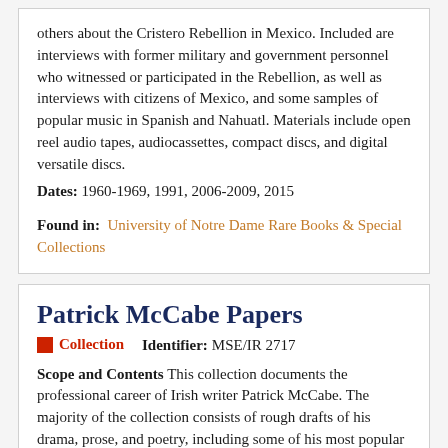others about the Cristero Rebellion in Mexico. Included are interviews with former military and government personnel who witnessed or participated in the Rebellion, as well as interviews with citizens of Mexico, and some samples of popular music in Spanish and Nahuatl. Materials include open reel audio tapes, audiocassettes, compact discs, and digital versatile discs.
Dates: 1960-1969, 1991, 2006-2009, 2015
Found in: University of Notre Dame Rare Books & Special Collections
Patrick McCabe Papers
Collection   Identifier: MSE/IR 2717
Scope and Contents This collection documents the professional career of Irish writer Patrick McCabe. The majority of the collection consists of rough drafts of his drama, prose, and poetry, including some of his most popular works in film and literature, Breakfast on Pluto and The Butcher Boy. The collection also contains various